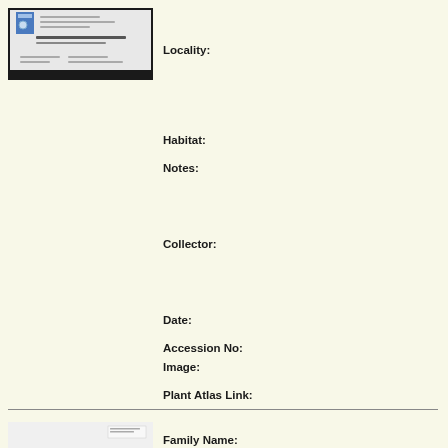[Figure (photo): Herbarium specimen sheet with label, top entry]
Locality:
Habitat:
Notes:
Collector:
Date:
Accession No:
Image:
Plant Atlas Link:
[Figure (photo): Herbarium specimen sheet with plant material, bottom entry]
Family Name:
Currently Accepted Name: